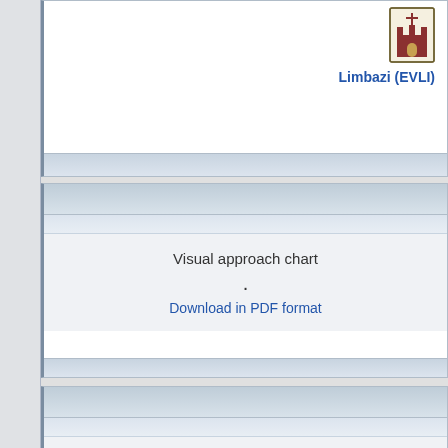[Figure (logo): Limbazi coat of arms logo - castle/church symbol in red and gold]
Limbazi (EVLI)
Visual approach chart
.
Download in PDF format
Visual approach chart
.
Download in PDF format
Visual approach chart